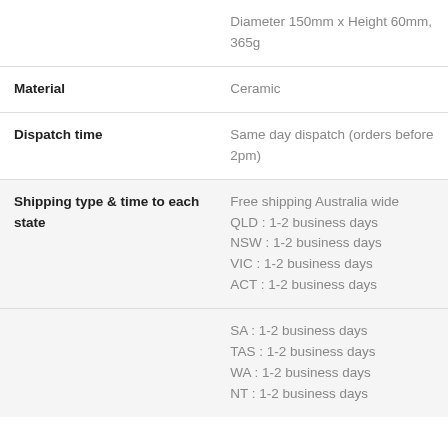| Property | Value |
| --- | --- |
|  | Diameter 150mm x Height 60mm, 365g |
| Material | Ceramic |
| Dispatch time | Same day dispatch (orders before 2pm) |
| Shipping type & time to each state | Free shipping Australia wide
QLD : 1-2 business days
NSW : 1-2 business days
VIC : 1-2 business days
ACT : 1-2 business days
SA : 1-2 business days
TAS : 1-2 business days
WA : 1-2 business days
NT : 1-2 business days |